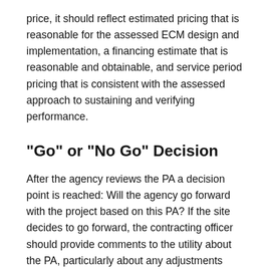price, it should reflect estimated pricing that is reasonable for the assessed ECM design and implementation, a financing estimate that is reasonable and obtainable, and service period pricing that is consistent with the assessed approach to sustaining and verifying performance.
"Go" or "No Go" Decision
After the agency reviews the PA a decision point is reached: Will the agency go forward with the project based on this PA? If the site decides to go forward, the contracting officer should provide comments to the utility about the PA, particularly about any adjustments needed in the utility's